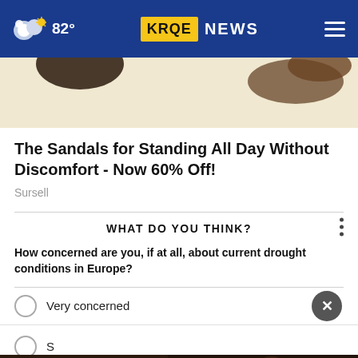82° KRQE NEWS
[Figure (screenshot): Partial advertisement image showing sandals on a cream background]
The Sandals for Standing All Day Without Discomfort - Now 60% Off!
Sursell
WHAT DO YOU THINK?
How concerned are you, if at all, about current drought conditions in Europe?
Very concerned
S...
N...
[Figure (screenshot): Advertisement banner overlay: 'Don't wait.' with a person sitting in a dark setting]